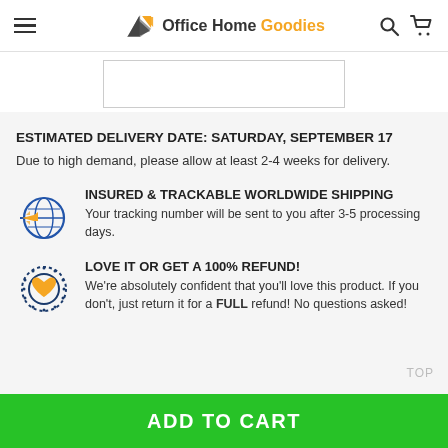Office Home Goodies
[Figure (other): Product image placeholder (white box with border)]
ESTIMATED DELIVERY DATE: SATURDAY, SEPTEMBER 17
Due to high demand, please allow at least 2-4 weeks for delivery.
[Figure (illustration): Globe with airplane icon representing worldwide shipping]
INSURED & TRACKABLE WORLDWIDE SHIPPING
Your tracking number will be sent to you after 3-5 processing days.
[Figure (illustration): Circle with heart/love icon representing 100% refund guarantee]
LOVE IT OR GET A 100% REFUND!
We're absolutely confident that you'll love this product. If you don't, just return it for a FULL refund! No questions asked!
ADD TO CART